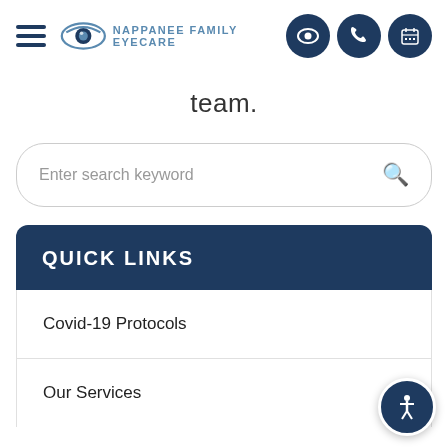[Figure (logo): Nappanee Family Eyecare logo with eye icon and text]
team.
[Figure (screenshot): Search box with placeholder text 'Enter search keyword' and a search icon]
QUICK LINKS
Covid-19 Protocols
Our Services